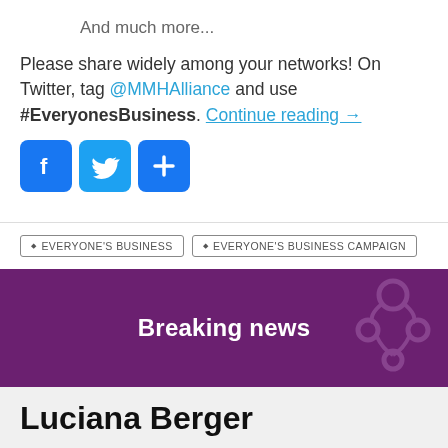And much more...
Please share widely among your networks! On Twitter, tag @MMHAlliance and use #EveryonesBusiness. Continue reading →
[Figure (infographic): Three social media share buttons: Facebook (blue rounded square with f icon), Twitter (blue rounded square with bird icon), and a plus/share button (blue rounded square with + icon)]
EVERYONE'S BUSINESS  EVERYONE'S BUSINESS CAMPAIGN
Breaking news
Luciana Berger